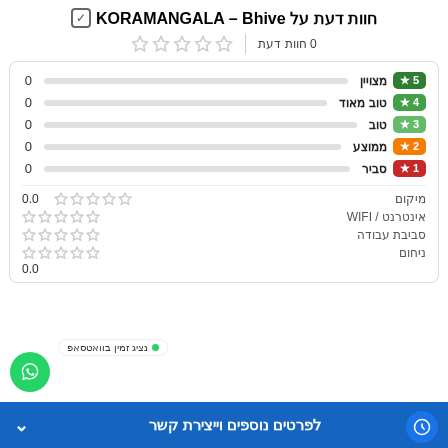חוות דעת על KORAMANGALA – Bhive
0 חוות דעת
| דירוג | תווית | כמות | בר |
| --- | --- | --- | --- |
| 5★ | מצויין | 0 |  |
| 4★ | טוב מאוד | 0 |  |
| 3★ | טוב | 0 |  |
| 2★ | ממוצע | 0 |  |
| 1★ | סביר | 0 |  |
| קטגוריה | ניקוד | כוכבים |
| --- | --- | --- |
| מיקום | 0.0 | ☆☆☆☆☆ |
| אינטרנט / WIFI | 0.0 | ☆☆☆☆☆ |
| סביבת עבודה | 0.0 | ☆☆☆☆☆ |
| ניחום | 0.0 | ☆☆☆☆☆ |
לפרטים נוספים וייצירת קשר